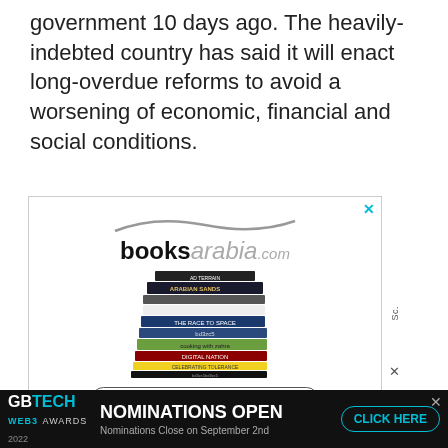government 10 days ago. The heavily-indebted country has said it will enact long-overdue reforms to avoid a worsening of economic, financial and social conditions.
[Figure (screenshot): Advertisement for booksarabia.com showing a stack of books with a logo and a 'VISIT BOOKSARABIA.COM' button]
[Figure (screenshot): Bottom banner advertisement for GB TECH WEB3 AWARDS 2022 with text 'NOMINATIONS OPEN' and 'CLICK HERE' button]